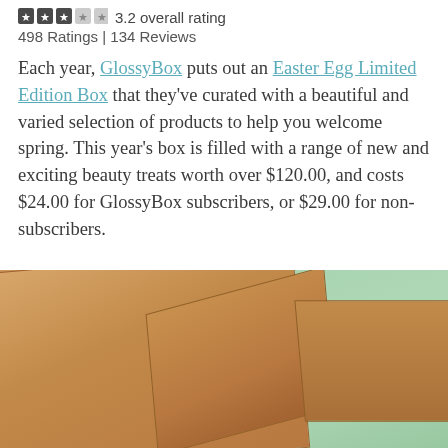3.2 overall rating
498 Ratings | 134 Reviews
Each year, GlossyBox puts out an Easter Egg Limited Edition Box that they've curated with a beautiful and varied selection of products to help you welcome spring. This year's box is filled with a range of new and exciting beauty treats worth over $120.00, and costs $24.00 for GlossyBox subscribers, or $29.00 for non-subscribers.
[Figure (photo): An open cardboard box photographed against a mint green background, viewed from above at an angle showing the box flaps and interior.]